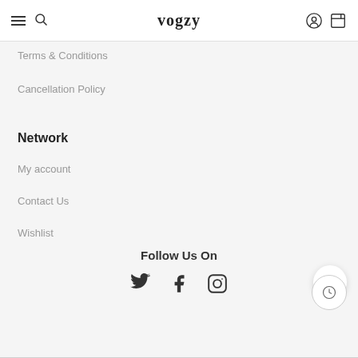vogzy
Terms & Conditions
Cancellation Policy
Network
My account
Contact Us
Wishlist
Follow Us On
[Figure (other): Social media icons: Twitter bird, Facebook f, Instagram camera]